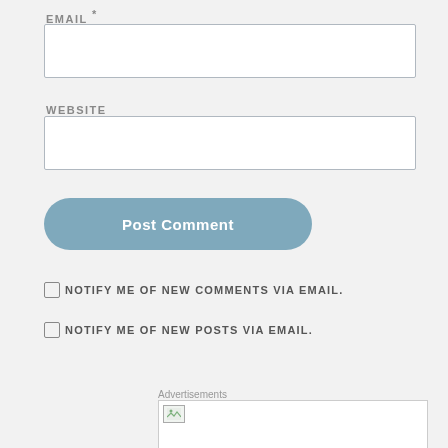EMAIL *
WEBSITE
Post Comment
NOTIFY ME OF NEW COMMENTS VIA EMAIL.
NOTIFY ME OF NEW POSTS VIA EMAIL.
Advertisements
[Figure (photo): Advertisement image placeholder with a small image icon in top-left corner]